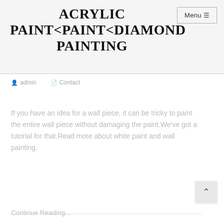ACRYLIC PAINT<PAINT<DIAMOND PAINTING
admin   Contact
If you have an idea for a wall piece, it can be tricky to paint the entire wall piece without damaging the paint.We've got a tutorial for that.Read more about white paint and wall painting.
Continue Reading...